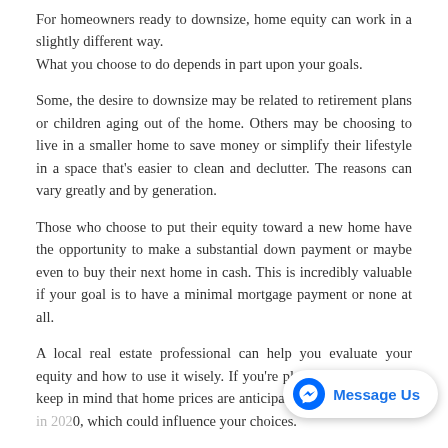For homeowners ready to downsize, home equity can work in a slightly different way.
What you choose to do depends in part upon your goals.
Some, the desire to downsize may be related to retirement plans or children aging out of the home. Others may be choosing to live in a smaller home to save money or simplify their lifestyle in a space that's easier to clean and declutter. The reasons can vary greatly and by generation.
Those who choose to put their equity toward a new home have the opportunity to make a substantial down payment or maybe even to buy their next home in cash. This is incredibly valuable if your goal is to have a minimal mortgage payment or none at all.
A local real estate professional can help you evaluate your equity and how to use it wisely. If you're planning to downsize, keep in mind that home prices are anticipated t[o continue to rise in 202]0, which could influence your choices.